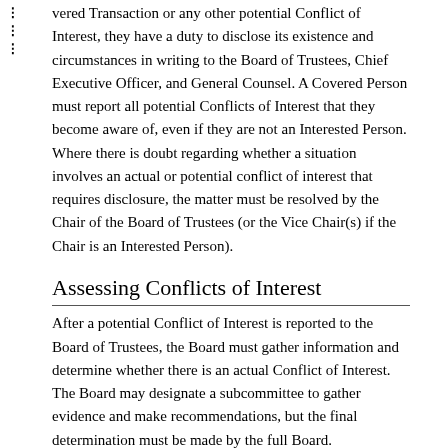vered Transaction or any other potential Conflict of Interest, they have a duty to disclose its existence and circumstances in writing to the Board of Trustees, Chief Executive Officer, and General Counsel. A Covered Person must report all potential Conflicts of Interest that they become aware of, even if they are not an Interested Person. Where there is doubt regarding whether a situation involves an actual or potential conflict of interest that requires disclosure, the matter must be resolved by the Chair of the Board of Trustees (or the Vice Chair(s) if the Chair is an Interested Person).
Assessing Conflicts of Interest
After a potential Conflict of Interest is reported to the Board of Trustees, the Board must gather information and determine whether there is an actual Conflict of Interest. The Board may designate a subcommittee to gather evidence and make recommendations, but the final determination must be made by the full Board.
Recusal of Interested Persons